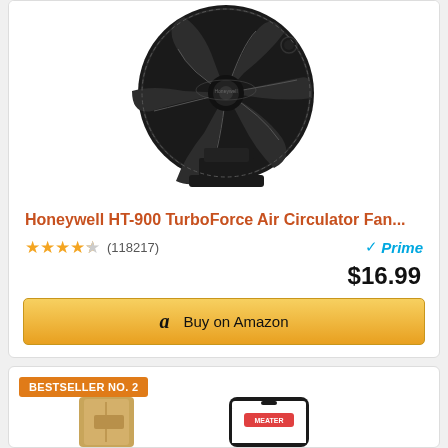[Figure (photo): Black Honeywell HT-900 TurboForce fan on white background]
Honeywell HT-900 TurboForce Air Circulator Fan...
★★★★½ (118217) Prime $16.99
Buy on Amazon
BESTSELLER NO. 2
[Figure (photo): Partial view of MEATER wireless thermometer product with bamboo holder and smartphone app]